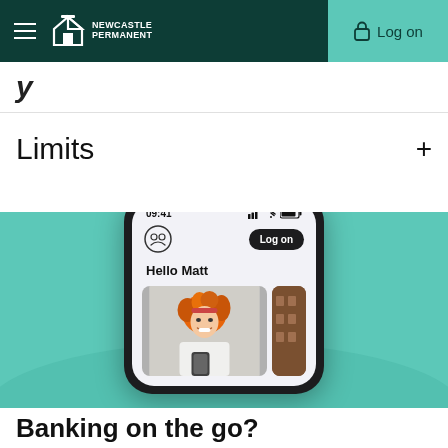Newcastle Permanent — Log on
y
Limits
[Figure (screenshot): Newcastle Permanent mobile banking app screenshot showing 'Hello Matt' greeting screen with a smiling woman holding a phone, displayed inside a phone mockup on a teal background]
Banking on the go?